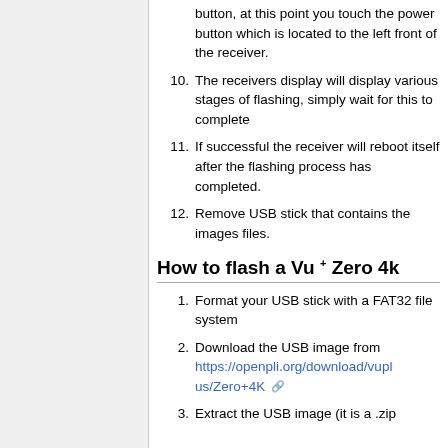9. ...button, at this point you touch the power button which is located to the left front of the receiver.
10. The receivers display will display various stages of flashing, simply wait for this to complete
11. If successful the receiver will reboot itself after the flashing process has completed.
12. Remove USB stick that contains the images files.
How to flash a Vu+ Zero 4k
1. Format your USB stick with a FAT32 file system
2. Download the USB image from https://openpli.org/download/vuplus/Zero+4K
3. Extract the USB image (it is a .zip